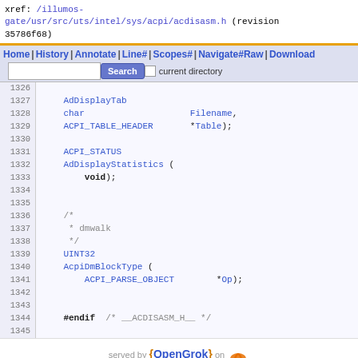xref: /illumos-gate/usr/src/uts/intel/sys/acpi/acdisasm.h (revision 35786f68)
Home | History | Annotate | Line# | Scopes# | Navigate# | Raw | Download | Search | current directory
1326
1327
1328  char
1329  ACPI_TABLE_HEADER  *Table);
1330
1331  ACPI_STATUS
1332  AdDisplayStatistics (
1333       void);
1334
1335
1336  /*
1337   * dmwalk
1338   */
1339  UINT32
1340  AcpiDmBlockType (
1341       ACPI_PARSE_OBJECT  *Op);
1342
1343
1344  #endif  /* __ACDISASM_H__ */
1345
served by {OpenGrok} on Java
Last Index update Tue Jul 12 07:04:25 UTC 2022